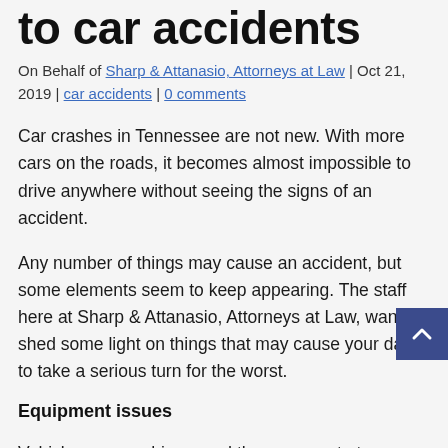to car accidents
On Behalf of Sharp & Attanasio, Attorneys at Law | Oct 21, 2019 | car accidents | 0 comments
Car crashes in Tennessee are not new. With more cars on the roads, it becomes almost impossible to drive anywhere without seeing the signs of an accident.
Any number of things may cause an accident, but some elements seem to keep appearing. The staff here at Sharp & Attanasio, Attorneys at Law, want to shed some light on things that may cause your day to take a serious turn for the worst.
Equipment issues
Vehicles are machines, and they wear out at some point.